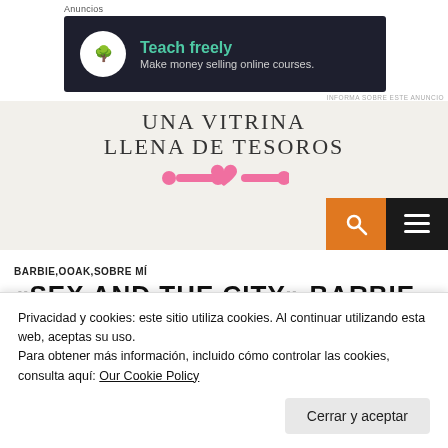Anuncios
[Figure (screenshot): Teach freely ad banner — dark background with bonsai tree icon, green text 'Teach freely', grey subtitle 'Make money selling online courses.']
INFORMA SOBRE ESTE ANUNCIO
UNA VITRINA LLENA DE TESOROS
[Figure (illustration): Pink decorative bone-and-heart divider: two pink bone shapes flanking a pink heart, centered.]
[Figure (screenshot): Navigation bar with orange search button (magnifying glass icon) and black hamburger menu button on the right.]
BARBIE,OOAK,SOBRE MÍ
«SEX AND THE CITY» BARBIE
Privacidad y cookies: este sitio utiliza cookies. Al continuar utilizando esta web, aceptas su uso.
Para obtener más información, incluido cómo controlar las cookies, consulta aquí: Our Cookie Policy
Cerrar y aceptar